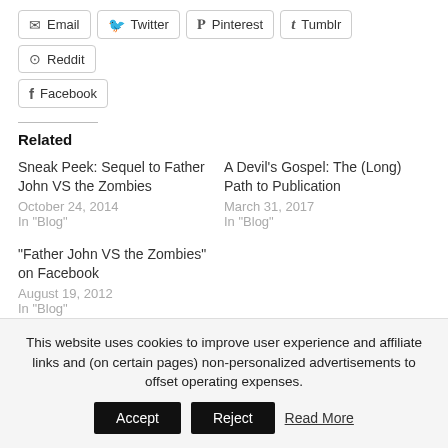Email
Twitter
Pinterest
Tumblr
Reddit
Facebook
Related
Sneak Peek: Sequel to Father John VS the Zombies
October 24, 2014
In "Blog"
A Devil's Gospel: The (Long) Path to Publication
March 31, 2017
In "Blog"
“Father John VS the Zombies” on Facebook
August 19, 2012
In "Blog"
This website uses cookies to improve user experience and affiliate links and (on certain pages) non-personalized advertisements to offset operating expenses.
Accept
Reject
Read More